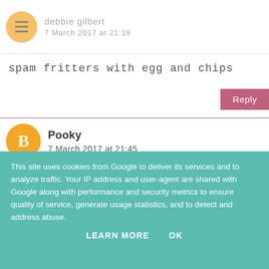debbie gilbert
7 March 2017 at 21:18
spam fritters with egg and chips
Reply
Pooky
7 March 2017 at 21:45
I like Spam pan fried with fried eggs.
Reply
This site uses cookies from Google to deliver its services and to analyze traffic. Your IP address and user-agent are shared with Google along with performance and security metrics to ensure quality of service, generate usage statistics, and to detect and address abuse.
LEARN MORE    OK